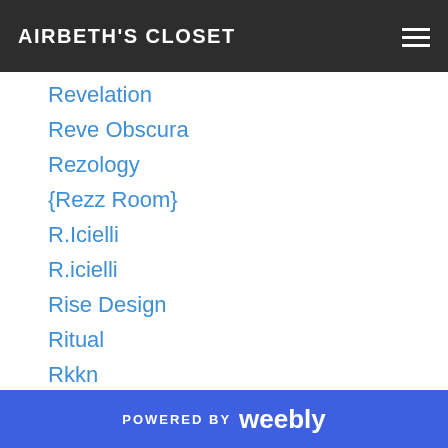AIRBETH'S CLOSET
Revelation
Reve Obscura
Rezology
{Rezz Room}
R.Icielli
R.icielli
Rise Design
Ritual
Rkkn
RLV
!R.O.!
R.O
Rockhold
Rogue Status
***rojo***
POWERED BY weebly